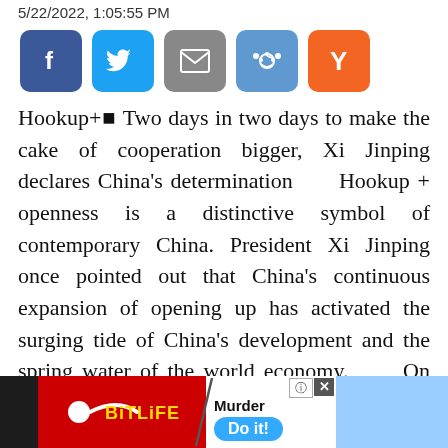5/22/2022, 1:05:55 PM
[Figure (infographic): Row of five social media share buttons: Facebook (dark blue, f icon), Twitter (light blue, bird icon), Email (gray, envelope icon), Reddit (medium blue, alien icon), Y Combinator (orange, Y icon)]
Hookup+■Two days in two days to make the cake of cooperation bigger, Xi Jinping declares China’s determination      Hookup + openness is a distinctive symbol of contemporary China. President Xi Jinping once pointed out that China’s continuous expansion of opening up has activated the surging tide of China’s development and the spring water of the world economy.      On May 18 and May 19, President Xi
[Figure (screenshot): Advertisement banner at bottom of page: BitLife red logo on left, Murder game ad in center with blue Do it! button, question mark and close X in upper right corner. Blue area on far right.]